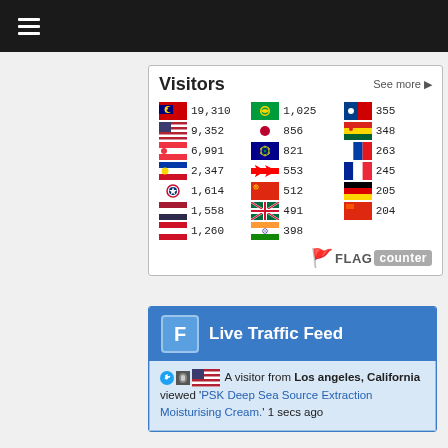≡ (hamburger menu)
[Figure (infographic): Visitors flag counter widget showing country flags and visitor counts. Malaysia 19,310; USA 9,352; Singapore 6,991; Philippines 2,347; South Korea 1,614; Thailand 1,558; Indonesia 1,260; Macau 1,025; Japan 856; Australia 821; Canada 553; Hong Kong 512; UK 491; India 398; Taiwan 355; Vietnam 348; Russia 263; France 245; Germany 205; China 204. FLAG counter logo at bottom right.]
[Figure (screenshot): Live Traffic Feed widget showing: A visitor from Los angeles, California viewed 'PSK Deep Sea Source Extraction Moisturising Cream.' 1 secs ago]